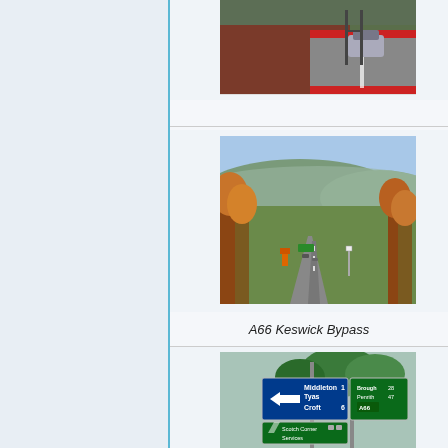[Figure (photo): A car driving on a road with red/brown hedgerow beside it, partial top view]
[Figure (photo): Aerial view of A66 road through hilly landscape with trees in autumn colours, mountains in background, green road signs visible]
A66 Keswick Bypass
[Figure (photo): UK road signs showing directions to Middleton Tyas 1, Croft 6, Brough, Penrith A66, Scotch Corner Services, and other destinations]